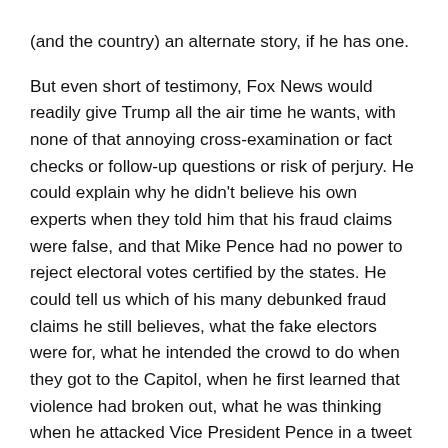(and the country) an alternate story, if he has one.

But even short of testimony, Fox News would readily give Trump all the air time he wants, with none of that annoying cross-examination or fact checks or follow-up questions or risk of perjury. He could explain why he didn't believe his own experts when they told him that his fraud claims were false, and that Mike Pence had no power to reject electoral votes certified by the states. He could tell us which of his many debunked fraud claims he still believes, what the fake electors were for, what he intended the crowd to do when they got to the Capitol, when he first learned that violence had broken out, what he was thinking when he attacked Vice President Pence in a tweet (and in particular, did he know at the time that the crowd was already calling for Pence to be hung?), why he waited